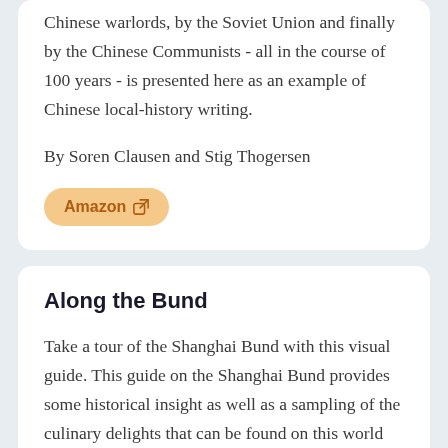Chinese warlords, by the Soviet Union and finally by the Chinese Communists - all in the course of 100 years - is presented here as an example of Chinese local-history writing.
By Soren Clausen and Stig Thogersen
Amazon
Along the Bund
Take a tour of the Shanghai Bund with this visual guide. This guide on the Shanghai Bund provides some historical insight as well as a sampling of the culinary delights that can be found on this world famous stretch of river front. Come follow the detailed map and sample the food that the